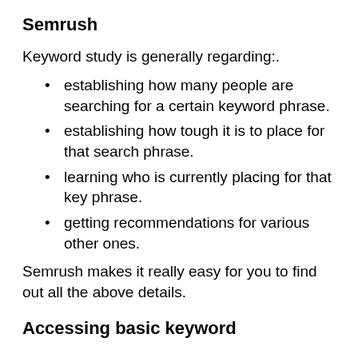Semrush
Keyword study is generally regarding:.
establishing how many people are searching for a certain keyword phrase.
establishing how tough it is to place for that search phrase.
learning who is currently placing for that key phrase.
getting recommendations for various other ones.
Semrush makes it really easy for you to find out all the above details.
Accessing basic keyword